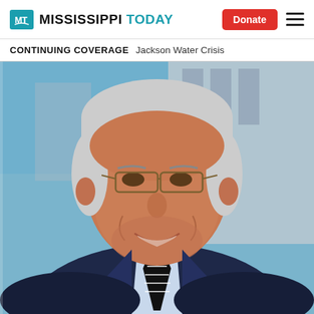MT MISSISSIPPI TODAY | Donate
CONTINUING COVERAGE  Jackson Water Crisis
[Figure (photo): Portrait photo of an elderly man with gray hair and glasses, wearing a dark navy suit with a black and white striped tie and light blue dress shirt, smiling in front of a building backdrop]